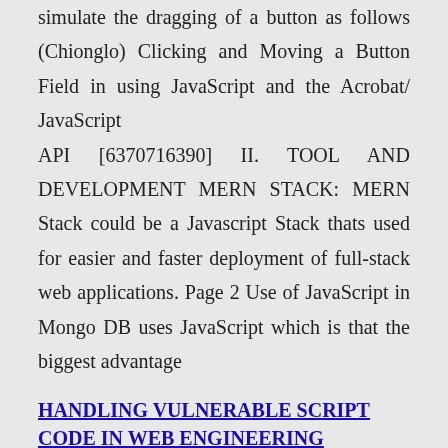simulate the dragging of a button as follows (Chionglo) Clicking and Moving a Button Field in using JavaScript and the Acrobat/ JavaScript API [6370716390] II. TOOL AND DEVELOPMENT MERN STACK: MERN Stack could be a Javascript Stack thats used for easier and faster deployment of full-stack web applications. Page 2 Use of JavaScript in Mongo DB uses JavaScript which is that the biggest advantage
HANDLING VULNERABLE SCRIPT CODE IN WEB ENGINEERING
free download
The main words of XSS are commonly found in the JavaScript browser or on the server